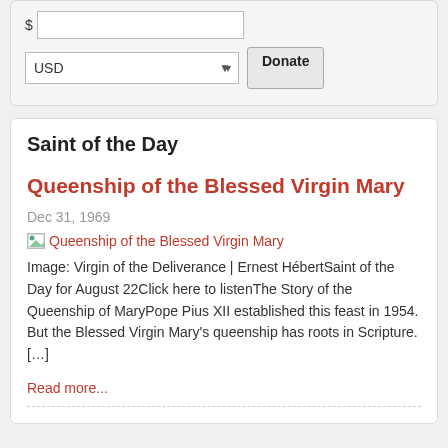[Figure (screenshot): Donation widget with USD currency selector and Donate button]
Saint of the Day
Queenship of the Blessed Virgin Mary
Dec 31, 1969
[Figure (other): Broken image icon with link text: Queenship of the Blessed Virgin Mary]
Image: Virgin of the Deliverance | Ernest HébertSaint of the Day for August 22Click here to listenThe Story of the Queenship of MaryPope Pius XII established this feast in 1954. But the Blessed Virgin Mary's queenship has roots in Scripture.[…]
Read more...